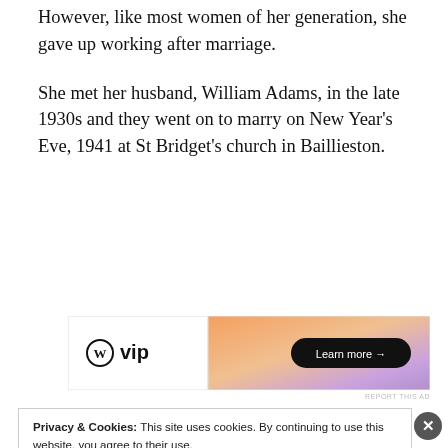However, like most women of her generation, she gave up working after marriage.
She met her husband, William Adams, in the late 1930s and they went on to marry on New Year's Eve, 1941 at St Bridget's church in Baillieston.
[Figure (other): WordPress VIP advertisement banner with gradient orange-to-purple background and 'Learn more →' button]
Privacy & Cookies: This site uses cookies. By continuing to use this website, you agree to their use.
To find out more, including how to control cookies, see here:
Cookie Policy
Close and accept